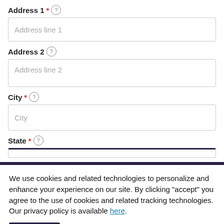Address 1 * (?)
Address line 1
Address 2 (?)
Address line 2
City * (?)
City
State * (?)
We use cookies and related technologies to personalize and enhance your experience on our site. By clicking "accept" you agree to the use of cookies and related tracking technologies. Our privacy policy is available here.
Accept